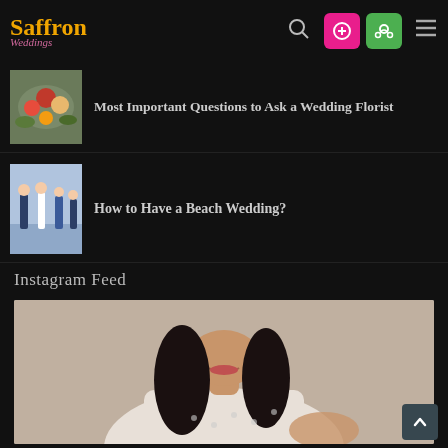Saffron Weddings — site navigation header
Most Important Questions to Ask a Wedding Florist
[Figure (photo): Thumbnail of a floral arrangement for a wedding]
How to Have a Beach Wedding?
[Figure (photo): Thumbnail of a beach wedding ceremony with guests in blue suits]
Instagram Feed
[Figure (photo): Instagram feed photo of a woman in a white lace dress, smiling, curly dark hair]